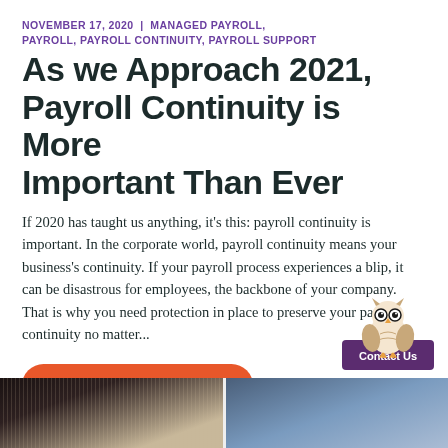NOVEMBER 17, 2020 | MANAGED PAYROLL, PAYROLL, PAYROLL CONTINUITY, PAYROLL SUPPORT
As we Approach 2021, Payroll Continuity is More Important Than Ever
If 2020 has taught us anything, it's this: payroll continuity is important. In the corporate world, payroll continuity means your business's continuity. If your payroll process experiences a blip, it can be disastrous for employees, the backbone of your company. That is why you need protection in place to preserve your payroll continuity no matter...
CONTINUE READING
[Figure (illustration): Owl mascot logo above a purple Contact Us widget box]
[Figure (photo): Bottom strip showing two people in business attire, left person in pinstripe suit, right person in light blue shirt]